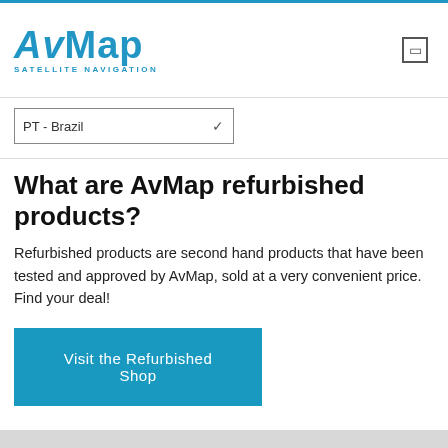[Figure (logo): AvMap Satellite Navigation logo in blue with italic styling]
PT - Brazil
What are AvMap refurbished products?
Refurbished products are second hand products that have been tested and approved by AvMap, sold at a very convenient price. Find your deal!
Visit the Refurbished Shop